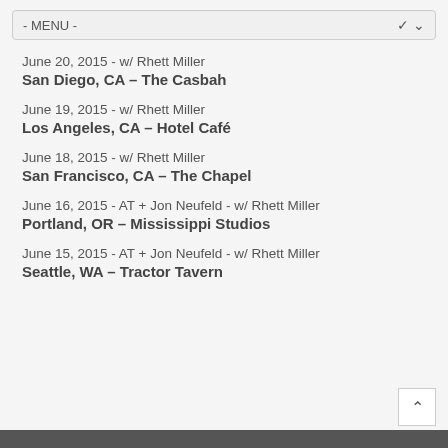- MENU -
June 20, 2015 - w/ Rhett Miller
San Diego, CA – The Casbah
June 19, 2015 - w/ Rhett Miller
Los Angeles, CA – Hotel Café
June 18, 2015 - w/ Rhett Miller
San Francisco, CA – The Chapel
June 16, 2015 - AT + Jon Neufeld - w/ Rhett Miller
Portland, OR – Mississippi Studios
June 15, 2015 - AT + Jon Neufeld - w/ Rhett Miller
Seattle, WA – Tractor Tavern